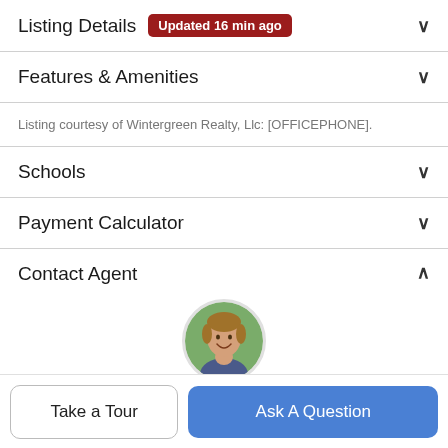Listing Details Updated 16 min ago
Features & Amenities
Listing courtesy of Wintergreen Realty, Llc: [OFFICEPHONE].
Schools
Payment Calculator
Contact Agent
[Figure (photo): Circular profile photo of a male real estate agent smiling, with green background]
Take a Tour
Ask A Question